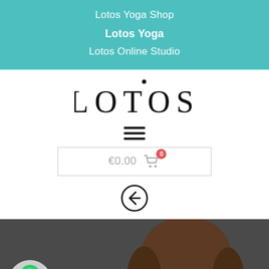Lotos Yoga Shop
Lotos Yoga
Lotos Online Studio
[Figure (logo): LOTOS text logo with a dot above the T, all caps serif font]
[Figure (infographic): Hamburger menu icon (three horizontal lines)]
[Figure (infographic): Shopping cart button showing €0.00 with a red badge showing 0]
[Figure (infographic): Back/left arrow circle button]
[Figure (photo): Dark background with a person's head and brown hair visible, and a WhatsApp contact button in bottom left]
Contact Us On WhatsApp